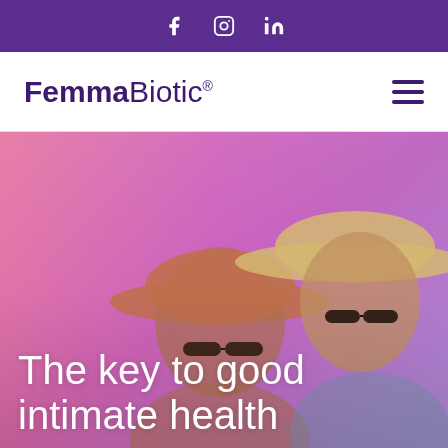FemmaBiotic® — Social icons (Facebook, Instagram, LinkedIn)
[Figure (logo): FemmaBiotic® brand logo in dark purple, bold sans-serif for 'Femma', regular weight for 'Biotic', with registered trademark symbol]
[Figure (photo): Two smiling young women wearing wide-brim hats and sunglasses, photographed outdoors with a pink-purple color overlay gradient]
The key to good intimate health